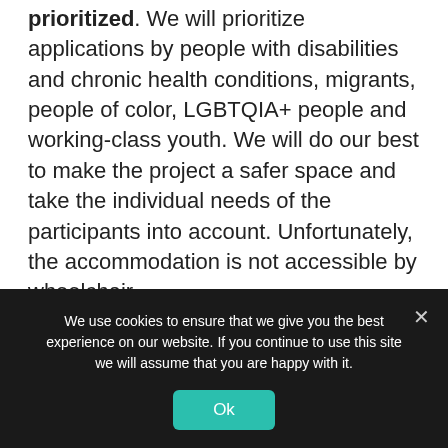Young people with fewer opportunities prioritized. We will prioritize applications by people with disabilities and chronic health conditions, migrants, people of color, LGBTQIA+ people and working-class youth. We will do our best to make the project a safer space and take the individual needs of the participants into account. Unfortunately, the accommodation is not accessible by wheelchair.
No previous experience with the topic needed.
You are welcome in this exchange even if you
We use cookies to ensure that we give you the best experience on our website. If you continue to use this site we will assume that you are happy with it.